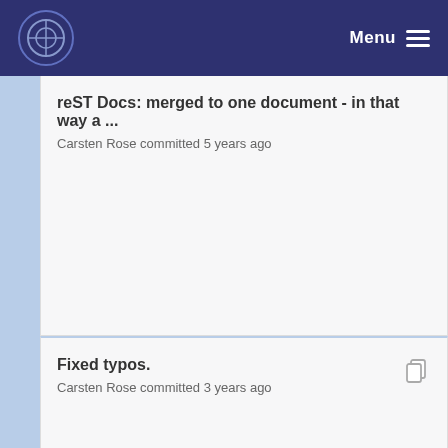Menu
reST Docs: merged to one document - in that way a ...
Carsten Rose committed 5 years ago
Fixed typos.
Carsten Rose committed 3 years ago